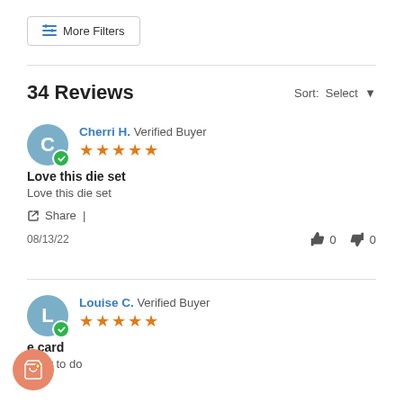≡ More Filters
34 Reviews
Sort: Select ▼
Cherri H. Verified Buyer ★★★★★
Love this die set
Love this die set
Share |
08/13/22  👍 0  👎 0
Louise C. Verified Buyer ★★★★★
e card
Easy to do